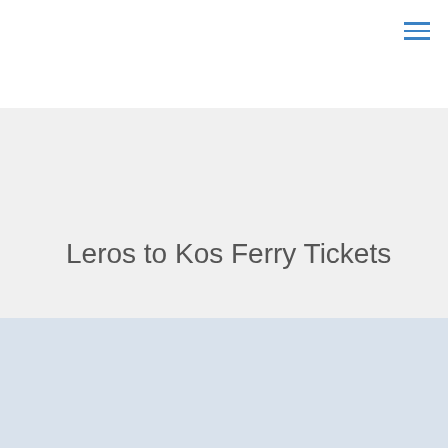Leros to Kos Ferry Tickets
Greek Ferries › Routes › Leros to Kos Ferry Tickets
[Figure (other): Light blue-gray background section filling the lower portion of the page]